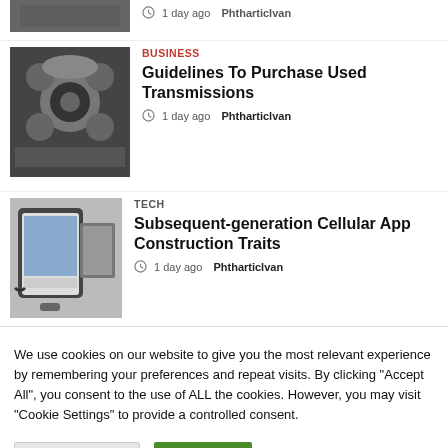[Figure (photo): Partial cropped top image of a laptop, partially visible at top of page]
1 day ago  Phtharticlvan
[Figure (photo): Black and white photo of car engine components including pulleys and belts]
BUSINESS
Guidelines To Purchase Used Transmissions
1 day ago  Phtharticlvan
[Figure (photo): Person holding a smartphone browsing social media with a laptop in the background]
TECH
Subsequent-generation Cellular App Construction Traits
1 day ago  Phtharticlvan
We use cookies on our website to give you the most relevant experience by remembering your preferences and repeat visits. By clicking "Accept All", you consent to the use of ALL the cookies. However, you may visit "Cookie Settings" to provide a controlled consent.
Cookie Settings
Accept All